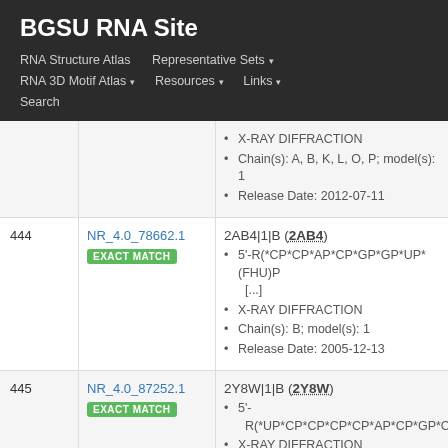BGSU RNA Site
RNA Structure Atlas | Representative Sets ▾ | RNA 3D Motif Atlas ▾ | Resources ▾ | Links ▾ | Search
| # | ID | Structure Info |
| --- | --- | --- |
|  |  | • X-RAY DIFFRACTION
• Chain(s): A, B, K, L, O, P; model(s): 1
• Release Date: 2012-07-11 |
| 444 | NR_4.0_78662.1 EXACT MATCH | 2AB4|1|B (2AB4)
• 5'-R(*CP*CP*AP*CP*GP*GP*UP*(FHU)P [...]
• X-RAY DIFFRACTION
• Chain(s): B; model(s): 1
• Release Date: 2005-12-13 |
| 445 | NR_4.0_87252.1 EXACT MATCH | 2Y8W|1|B (2Y8W)
• 5'- R(*UP*CP*CP*CP*CP*AP*CP*GP*CP*G
• X-RAY DIFFRACTION |